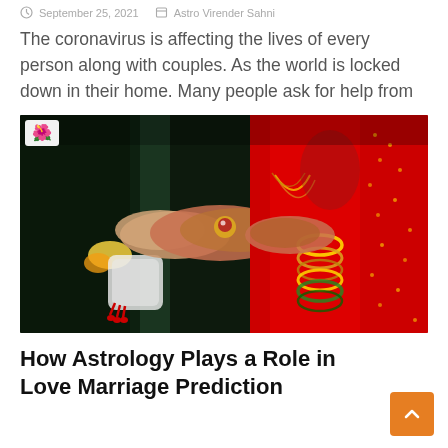September 25, 2021  Astro Virender Sahni
The coronavirus is affecting the lives of every person along with couples. As the world is locked down in their home. Many people ask for help from
[Figure (photo): Indian wedding ceremony photo showing close-up of bride and groom exchanging rings. Bride wearing red saree with gold jewelry and bangles, groom in dark suit. A small floral emoji badge is visible in top-left corner of the image.]
How Astrology Plays a Role in Love Marriage Prediction